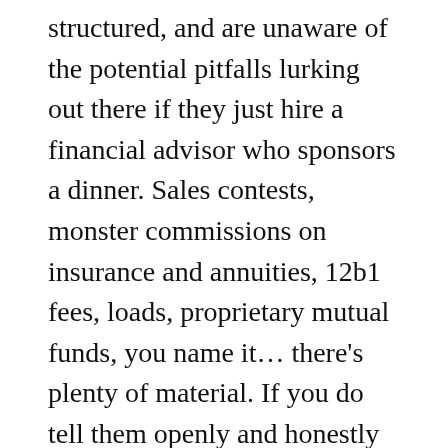structured, and are unaware of the potential pitfalls lurking out there if they just hire a financial advisor who sponsors a dinner. Sales contests, monster commissions on insurance and annuities, 12b1 fees, loads, proprietary mutual funds, you name it… there's plenty of material. If you do tell them openly and honestly about how advisors really get paid, and what to watch out for, they will definitely appreciate it.
Does it feel strange? Yes, it can. But this is information people need to know. After all, choosing the wrong advisor could cost someone their comfort (or worse) in